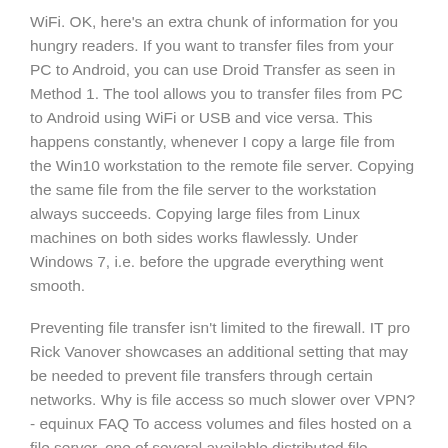WiFi. OK, here's an extra chunk of information for you hungry readers. If you want to transfer files from your PC to Android, you can use Droid Transfer as seen in Method 1. The tool allows you to transfer files from PC to Android using WiFi or USB and vice versa. This happens constantly, whenever I copy a large file from the Win10 workstation to the remote file server. Copying the same file from the file server to the workstation always succeeds. Copying large files from Linux machines on both sides works flawlessly. Under Windows 7, i.e. before the upgrade everything went smooth.
Preventing file transfer isn't limited to the firewall. IT pro Rick Vanover showcases an additional setting that may be needed to prevent file transfers through certain networks. Why is file access so much slower over VPN? - equinux FAQ To access volumes and files hosted on a file server, one of several available distributed file system protocols must be used. As of 2018, the most common protocols are SMB/CIFS (default for